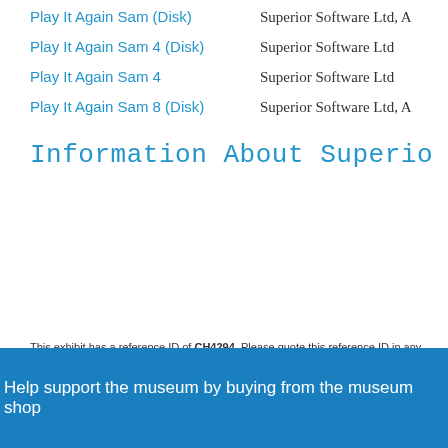Play It Again Sam (Disk) — Superior Software Ltd, A
Play It Again Sam 4 (Disk) — Superior Software Ltd
Play It Again Sam 4 — Superior Software Ltd
Play It Again Sam 8 (Disk) — Superior Software Ltd, A
Information About Superio
This exhibit has a reference ID of CH4294. Please quote this reference ID in any communic
Help support the museum by buying from the museum shop